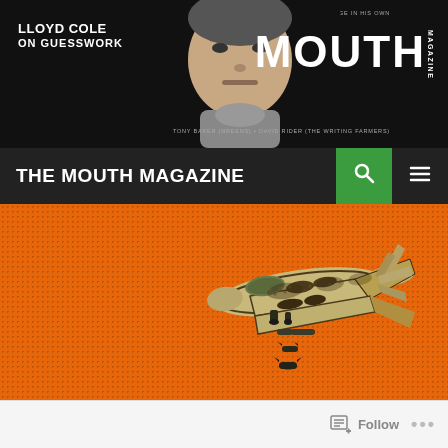LLOYD COLE ON GUESSWORK
[Figure (photo): Black and white close-up photo of a man's face looking stern, used as part of the Mouth Magazine header banner]
MOUTH MAGAZINE
THE MOUTH MAGAZINE
[Figure (illustration): Vintage WWII bomber aircraft (B-17 style) rendered in halftone/dot-matrix style on orange background, dropping bombs below it]
Follow ...